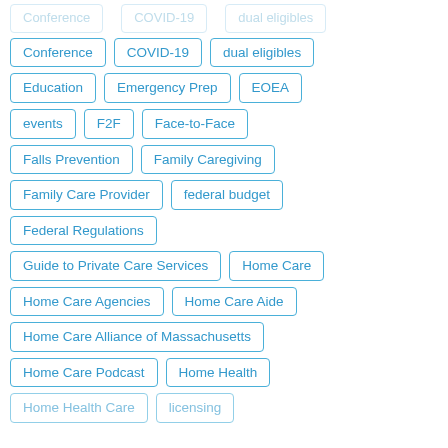Conference
COVID-19
dual eligibles
Education
Emergency Prep
EOEA
events
F2F
Face-to-Face
Falls Prevention
Family Caregiving
Family Care Provider
federal budget
Federal Regulations
Guide to Private Care Services
Home Care
Home Care Agencies
Home Care Aide
Home Care Alliance of Massachusetts
Home Care Podcast
Home Health
Home Health Care
licensing